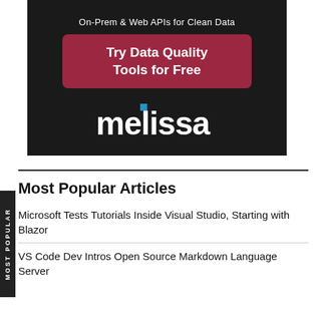[Figure (infographic): Advertisement banner for Melissa data quality tools. Black background with white text 'On-Prem & Web APIs for Clean Data', a dark red/maroon button reading 'Try Data Quality Tools for Free', and the Melissa logo in white with a blue square accent.]
Most Popular Articles
Microsoft Tests Tutorials Inside Visual Studio, Starting with Blazor
VS Code Dev Intros Open Source Markdown Language Server